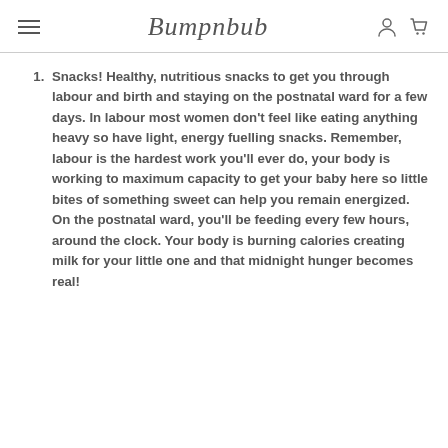Bumpnbub
Snacks! Healthy, nutritious snacks to get you through labour and birth and staying on the postnatal ward for a few days. In labour most women don't feel like eating anything heavy so have light, energy fuelling snacks. Remember, labour is the hardest work you'll ever do, your body is working to maximum capacity to get your baby here so little bites of something sweet can help you remain energized. On the postnatal ward, you'll be feeding every few hours, around the clock. Your body is burning calories creating milk for your little one and that midnight hunger becomes real!